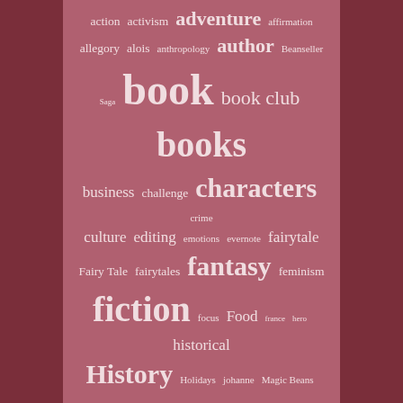[Figure (infographic): Word cloud on a muted rose/mauve background showing book, reading, and writing related terms in varying font sizes indicating frequency. Larger words include: book, books, Reading, History, fiction, characters, fantasy, personal, stories, supernatural, reading challenge, mythology, NaNoWriMo, author, adventure, scrivener.]